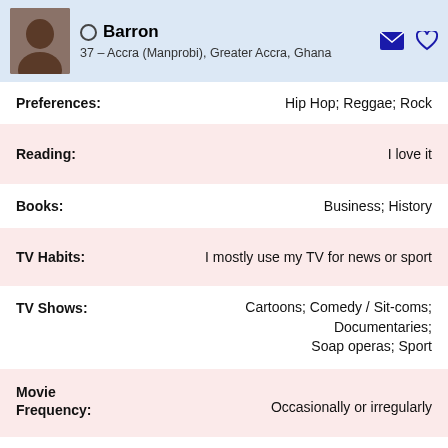Barron
37 – Accra (Manprobi), Greater Accra, Ghana
Preferences: Hip Hop; Reggae; Rock
Reading: I love it
Books: Business; History
TV Habits: I mostly use my TV for news or sport
TV Shows: Cartoons; Comedy / Sit-coms; Documentaries; Soap operas; Sport
Movie Frequency: Occasionally or irregularly
Movie Preferences: Action; Comedy